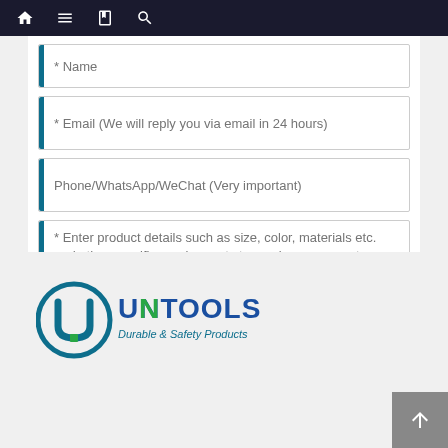Navigation bar with home, menu, contact, and search icons
* Name
* Email (We will reply you via email in 24 hours)
Phone/WhatsApp/WeChat (Very important)
* Enter product details such as size, color, materials etc. and other specific requirements to receive an accurate quote.
Send
[Figure (logo): UNTOOLS Durable & Safety Products logo with circular U emblem in teal/blue and green accent, company name in blue]